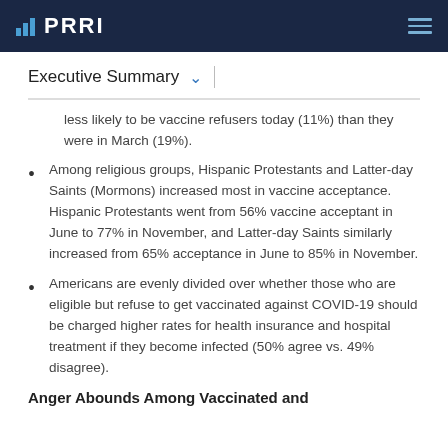PRRI
Executive Summary
less likely to be vaccine refusers today (11%) than they were in March (19%).
Among religious groups, Hispanic Protestants and Latter-day Saints (Mormons) increased most in vaccine acceptance. Hispanic Protestants went from 56% vaccine acceptant in June to 77% in November, and Latter-day Saints similarly increased from 65% acceptance in June to 85% in November.
Americans are evenly divided over whether those who are eligible but refuse to get vaccinated against COVID-19 should be charged higher rates for health insurance and hospital treatment if they become infected (50% agree vs. 49% disagree).
Anger Abounds Among Vaccinated and